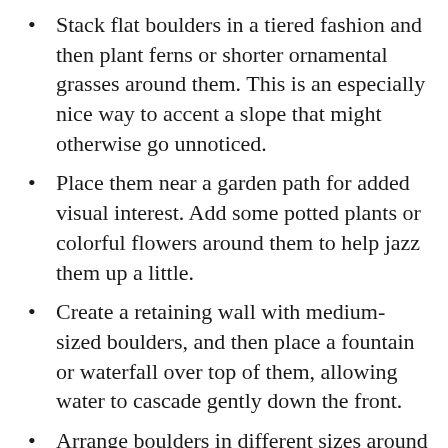Stack flat boulders in a tiered fashion and then plant ferns or shorter ornamental grasses around them. This is an especially nice way to accent a slope that might otherwise go unnoticed.
Place them near a garden path for added visual interest. Add some potted plants or colorful flowers around them to help jazz them up a little.
Create a retaining wall with medium-sized boulders, and then place a fountain or waterfall over top of them, allowing water to cascade gently down the front.
Arrange boulders in different sizes around a garden pond, and then add native grasses or flowering shrubs to help give it a more